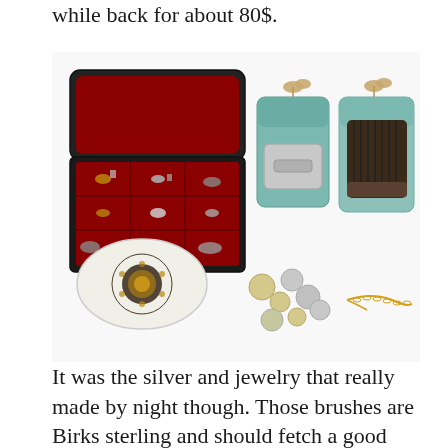while back for about 80$.
[Figure (photo): A flat-lay photo of vintage jewelry and accessories: an open red velvet jewelry box filled with cufflinks and small items, two teal drawstring pouches containing a silver case and a dark bristle brush, a white oval decorative box with ornate medallion, scattered old coins, and a gold chain.]
It was the silver and jewelry that really made by night though. Those brushes are Birks sterling and should fetch a good price. The cufflinks weren't super exciting, but the 14k